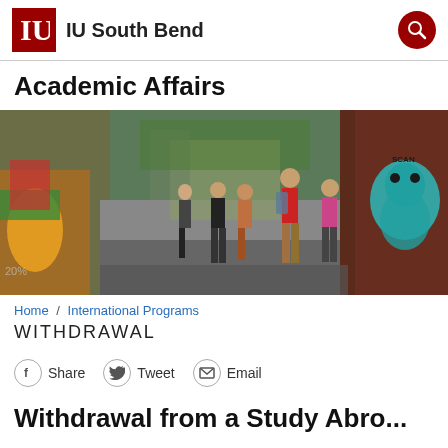IU South Bend
Academic Affairs
[Figure (photo): Students walking along a street with colorful graffiti murals on brick walls on both sides]
Home / International Programs
WITHDRAWAL
Share  Tweet  Email
Withdrawal from a Study Abroad...